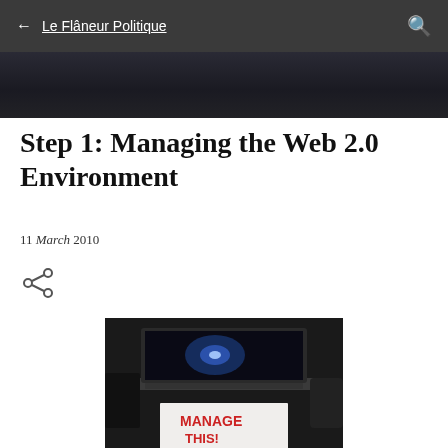← Le Flâneur Politique
[Figure (photo): Dark banner / hero image area with dark blue-black gradient background]
Step 1: Managing the Web 2.0 Environment
11 March 2010
[Figure (photo): Photo of a laptop with a glowing blue screen and a handwritten sign in front reading MANAGE THIS!]